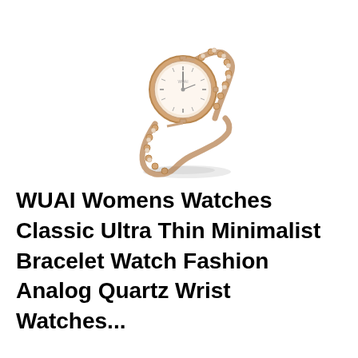[Figure (photo): A rose gold women's bracelet watch with a small round face, minimalist dial, and a delicate chain-link bracelet adorned with small crystal-like stones. The watch is shown at an angle, partially wrapped as if on a wrist.]
WUAI Womens Watches Classic Ultra Thin Minimalist Bracelet Watch Fashion Analog Quartz Wrist Watches...